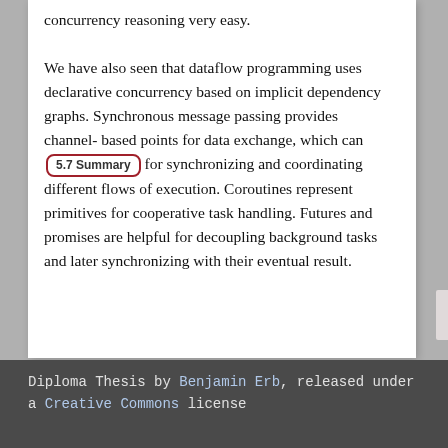concurrency reasoning very easy.
We have also seen that dataflow programming uses declarative concurrency based on implicit dependency graphs. Synchronous message passing provides channel-based points for data exchange, which can [5.7 Summary] for synchronizing and coordinating different flows of execution. Coroutines represent primitives for cooperative task handling. Futures and promises are helpful for decoupling background tasks and later synchronizing with their eventual result.
Diploma Thesis by Benjamin Erb, released under a Creative Commons license